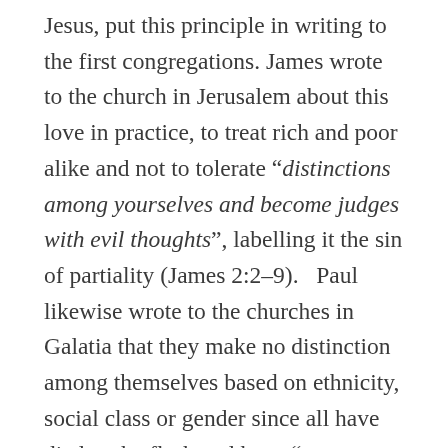Jesus, put this principle in writing to the first congregations. James wrote to the church in Jerusalem about this love in practice, to treat rich and poor alike and not to tolerate “distinctions among yourselves and become judges with evil thoughts”, labelling it the sin of partiality (James 2:2–9).   Paul likewise wrote to the churches in Galatia that they make no distinction among themselves based on ethnicity, social class or gender since all have died to the flesh and have “put on Christ” in baptism (Galatians 3:27–28; cf 1 Corinthians 12:13 and 2 Corinthians 5:16–17).  Regarding this new identity, Peter